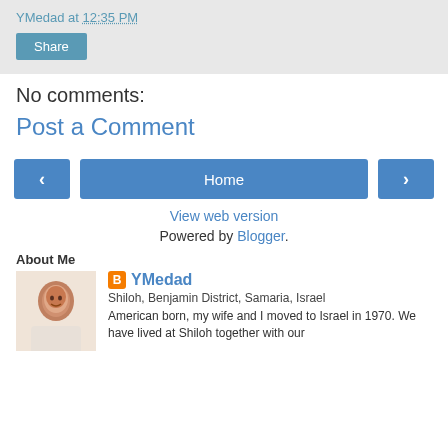YMedad at 12:35 PM
Share
No comments:
Post a Comment
< Home >
View web version
Powered by Blogger.
About Me
YMedad
Shiloh, Benjamin District, Samaria, Israel
American born, my wife and I moved to Israel in 1970. We have lived at Shiloh together with our